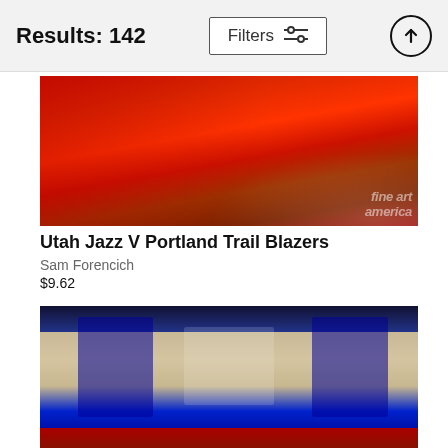Results: 142   Filters
[Figure (photo): Aerial view of basketball game, Utah Jazz vs Portland Trail Blazers, players on red court near the hoop, fine art america watermark]
Utah Jazz V Portland Trail Blazers
Sam Forencich
$9.62
[Figure (photo): Basketball game photo showing players from Philadelphia 76ers in blue uniforms and Oklahoma City Thunder player #0 going up for a layup in a packed arena]